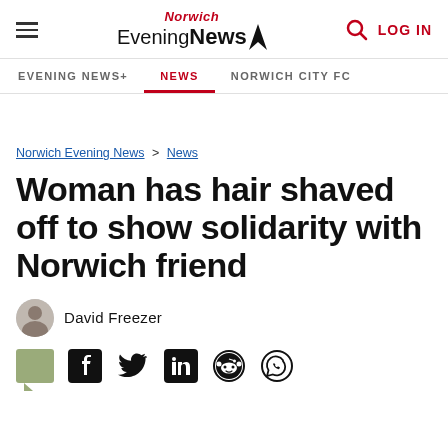Norwich Evening News | LOG IN
EVENING NEWS+ | NEWS | NORWICH CITY FC
Norwich Evening News > News
Woman has hair shaved off to show solidarity with Norwich friend
David Freezer